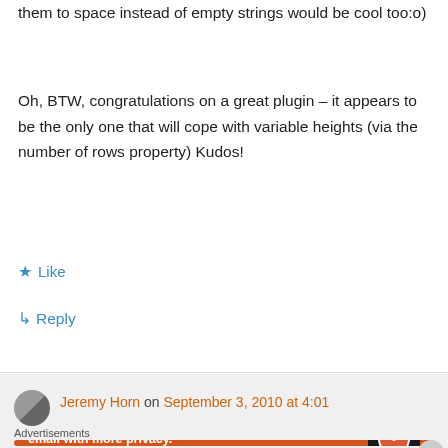them to space instead of empty strings would be cool too:o)
Oh, BTW, congratulations on a great plugin – it appears to be the only one that will cope with variable heights (via the number of rows property) Kudos!
★ Like
↳ Reply
Jeremy Horn on September 3, 2010 at 4:01
Advertisements
[Figure (infographic): DuckDuckGo advertisement: Search, browse, and email with more privacy. All in One Free App. Shows a phone with DuckDuckGo logo.]